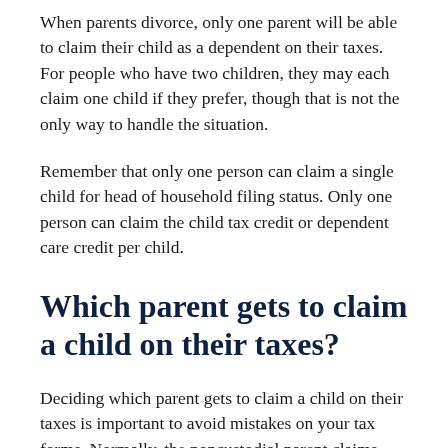When parents divorce, only one parent will be able to claim their child as a dependent on their taxes. For people who have two children, they may each claim one child if they prefer, though that is not the only way to handle the situation.
Remember that only one person can claim a single child for head of household filing status. Only one person can claim the child tax credit or dependent care credit per child.
Which parent gets to claim a child on their taxes?
Deciding which parent gets to claim a child on their taxes is important to avoid mistakes on your tax forms. Normally, the noncustodial parent claims